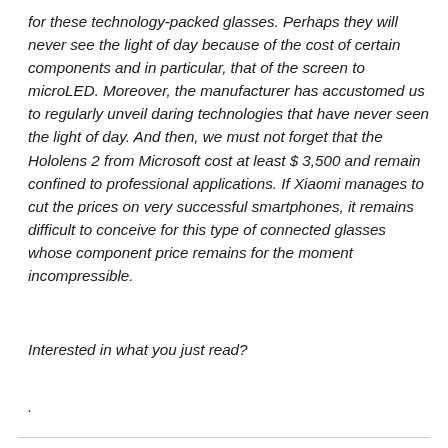for these technology-packed glasses. Perhaps they will never see the light of day because of the cost of certain components and in particular, that of the screen to microLED. Moreover, the manufacturer has accustomed us to regularly unveil daring technologies that have never seen the light of day. And then, we must not forget that the Hololens 2 from Microsoft cost at least $ 3,500 and remain confined to professional applications. If Xiaomi manages to cut the prices on very successful smartphones, it remains difficult to conceive for this type of connected glasses whose component price remains for the moment incompressible.
Interested in what you just read?
.